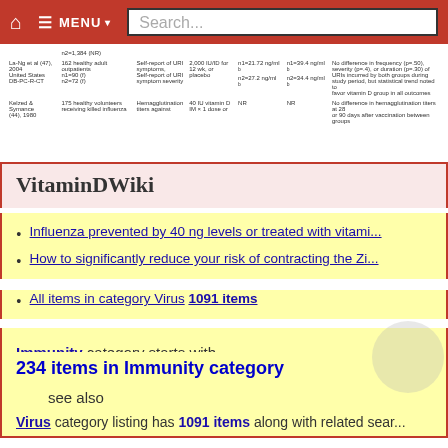Navigation bar with home, MENU, and Search...
| Author | Participants | Outcome | Dose | n1 | n2 | Results |
| --- | --- | --- | --- | --- | --- | --- |
| La-Ng et al (47), 2004, United States, DB-PC-R-CT | 162 healthy adult outpatients n1=90 (f) n2=72 (f) | Self-report of URI symptoms, Self-report of URI symptom severity | 2,000 IU/ID for 12 wk, or placebo | n1=21.72 ng/ml, n2=27.2 ng/ml | n1=39.4 ng/ml, n2=34.4 ng/ml | No difference in frequency (p=.50), severity (p=.4), or duration (p=.30) of URIs incurred by both groups during study period, but statistical trend noted to favor vitamin D group in all outcomes |
| Kelzed & Symance (44), 1980 | 175 healthy volunteers receiving killed influenza | Hemagglutination titers against | 40 IU vitamin D IM × 1 dose or | NR | NR | No difference in hemagglutination titers at 28 or 90 days after vaccination between groups |
VitaminDWiki
Influenza prevented by 40 ng levels or treated with vitami...
How to significantly reduce your risk of contracting the Zi...
All items in category Virus 1091 items
Immunity category starts with
234 items in Immunity category
see also
Virus category listing has 1091 items along with related sear...